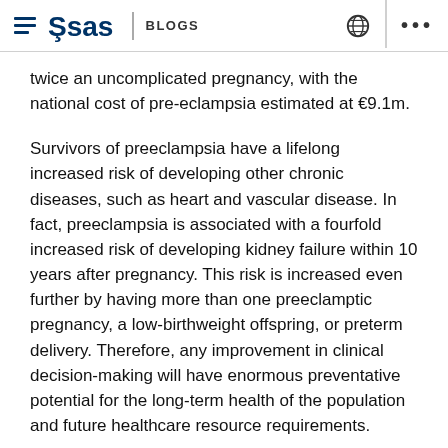SAS BLOGS
twice an uncomplicated pregnancy, with the national cost of pre-eclampsia estimated at €9.1m.
Survivors of preeclampsia have a lifelong increased risk of developing other chronic diseases, such as heart and vascular disease. In fact, preeclampsia is associated with a fourfold increased risk of developing kidney failure within 10 years after pregnancy. This risk is increased even further by having more than one preeclamptic pregnancy, a low-birthweight offspring, or preterm delivery. Therefore, any improvement in clinical decision-making will have enormous preventative potential for the long-term health of the population and future healthcare resource requirements.